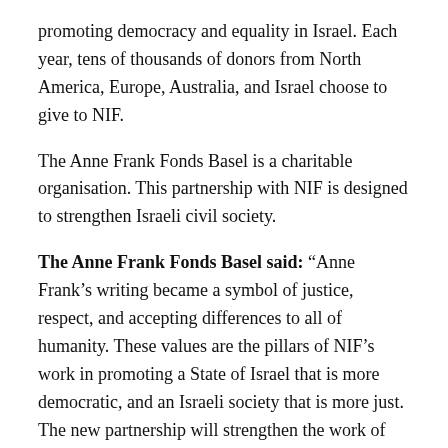promoting democracy and equality in Israel. Each year, tens of thousands of donors from North America, Europe, Australia, and Israel choose to give to NIF.
The Anne Frank Fonds Basel is a charitable organisation. This partnership with NIF is designed to strengthen Israeli civil society.
The Anne Frank Fonds Basel said: “Anne Frank’s writing became a symbol of justice, respect, and accepting differences to all of humanity. These values are the pillars of NIF’s work in promoting a State of Israel that is more democratic, and an Israeli society that is more just. The new partnership will strengthen the work of our two organizations and imbue Israeli society with these values.
“Since Otto Frank created the Foundation in Basel, the organisation has made a major part of its donations to